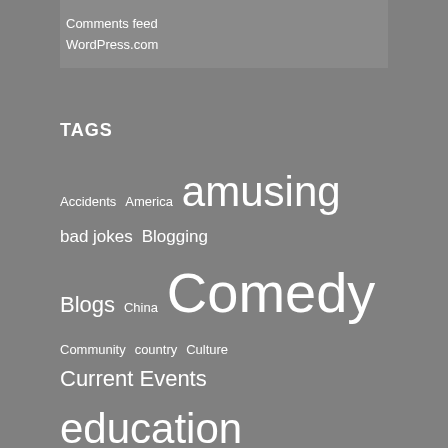Comments feed
WordPress.com
TAGS
Accidents America amusing bad jokes Blogging Blogs China Comedy Community country Culture Current Events education Entertainment events fact factoid factoids facts fools funny general knowledge Geography history Humor Humour idiots information internet joke jokes Life Misc Miscellaneous morons movie movies music Musings Opinion People Personal Writing